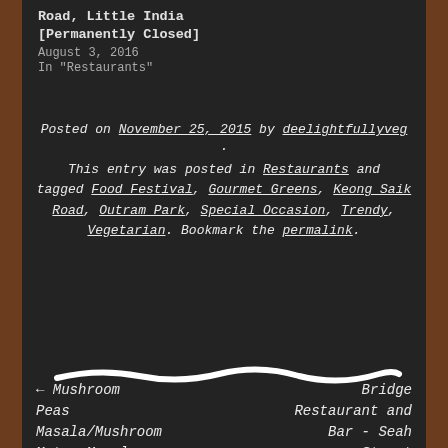Road, Little India [Permanently Closed]
August 3, 2016
In "Restaurants"
Posted on November 25, 2015 by deelightfullyveg. This entry was posted in Restaurants and tagged Food Festival, Gourmet Greens, Keong Saik Road, Outram Park, Special Occasion, Trendy, Vegetarian. Bookmark the permalink.
[Figure (illustration): A white hand-drawn horizontal wavy line divider on dark background]
← Mushroom Peas Masala/Mushroom Matar Masala
Bridge Restaurant and Bar - Seah Street